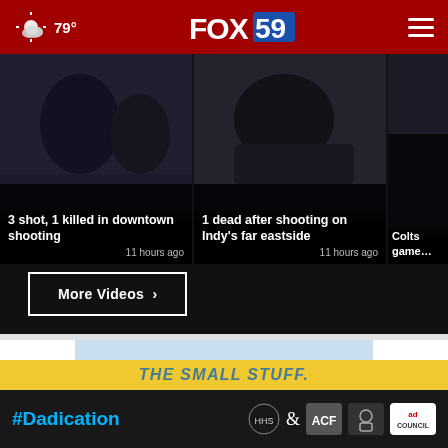79° FOX 59
[Figure (screenshot): Video thumbnail: 3 shot, 1 killed in downtown shooting — 11 hours ago]
3 shot, 1 killed in downtown shooting
11 hours ago
[Figure (screenshot): Video thumbnail: 1 dead after shooting on Indy's far eastside — 11 hours ago]
1 dead after shooting on Indy's far eastside
11 hours ago
[Figure (screenshot): Video thumbnail: Colts game (partial, cut off)]
Colts game (partial)
More Videos ›
[Figure (photo): Two children in car seats with a large teddy bear between them; girl has green balloon animal on head and holds pink flower, boy has face paint and wears blue cap]
#Dadication
THE SMALL STUFF.